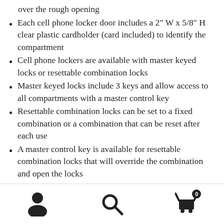over the rough opening
Each cell phone locker door includes a 2″ W x 5/8″ H clear plastic cardholder (card included) to identify the compartment
Cell phone lockers are available with master keyed locks or resettable combination locks
Master keyed locks include 3 keys and allow access to all compartments with a master control key
Resettable combination locks can be set to a fixed combination or a combination that can be reset after each use
A master control key is available for resettable combination locks that will override the combination and open the locks
All openings are usable
User icon | Search icon | Cart (0)